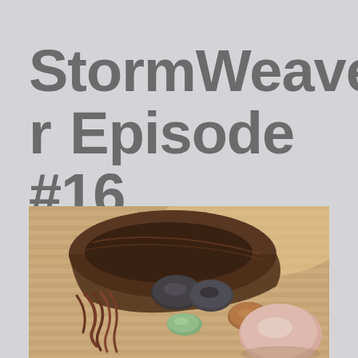StormWeaver Episode #16
[Figure (photo): A brown velvet drawstring pouch lying open on a woven mat surface, with several smooth polished stones spilling out: dark gray/black stones, a greenish stone, a brownish-orange stone, and a large pink/rose-colored stone in the foreground.]